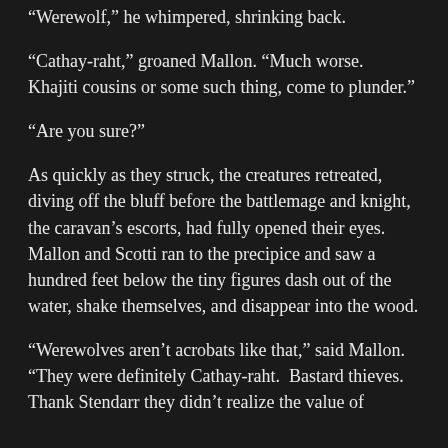"Werewolf," he whimpered, shrinking back.
"Cathay-raht," groaned Mallon. "Much worse. Khajiti cousins or some such thing, come to plunder."
"Are you sure?"
As quickly as they struck, the creatures retreated, diving off the bluff before the battlemage and knight, the caravan's escorts, had fully opened their eyes. Mallon and Scotti ran to the precipice and saw a hundred feet below the tiny figures dash out of the water, shake themselves, and disappear into the wood.
"Werewolves aren't acrobats like that," said Mallon. "They were definitely Cathay-raht. Bastard thieves. Thank Stendarr they didn't realize the value of